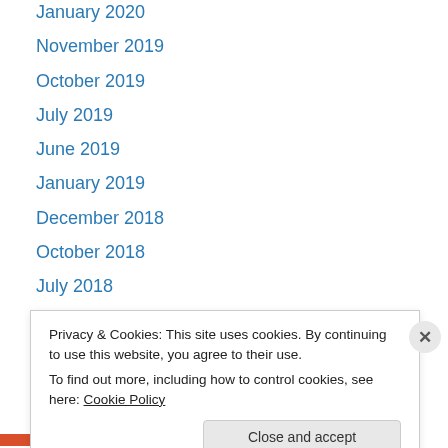January 2020
November 2019
October 2019
July 2019
June 2019
January 2019
December 2018
October 2018
July 2018
April 2018
March 2018
February 2018
November 2017
Privacy & Cookies: This site uses cookies. By continuing to use this website, you agree to their use. To find out more, including how to control cookies, see here: Cookie Policy